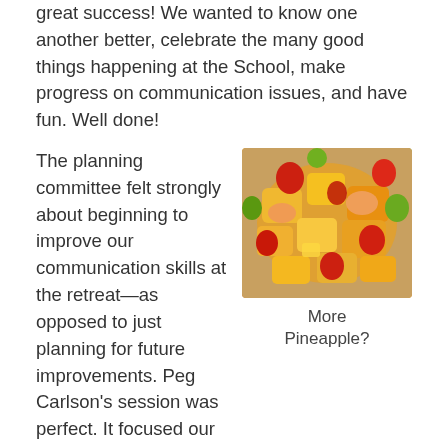great success!  We wanted to know one another better, celebrate the many good things happening at the School, make progress on communication issues, and have fun.  Well done!
[Figure (photo): A colorful mixed fruit salad with strawberries, pineapple chunks, melon, and other fruits in a bowl.]
More Pineapple?
The planning committee felt strongly about beginning to improve our communication skills at the retreat—as opposed to just planning for future improvements.  Peg Carlson's session was perfect.  It focused our attention on common challenges to effective communication and guided us through some exercises to improve our skills.  I especially liked the exercise on identifying genuine and false questions.  I'm trying hard to avoid failing the "you idiot" test.  Peg is excellent—focused teaching, good humor, and the ability to put her audience at ease.  Jim Drennan says he put extra pineapple into a fruit salad this weekend just to avoid the question.  Peg's